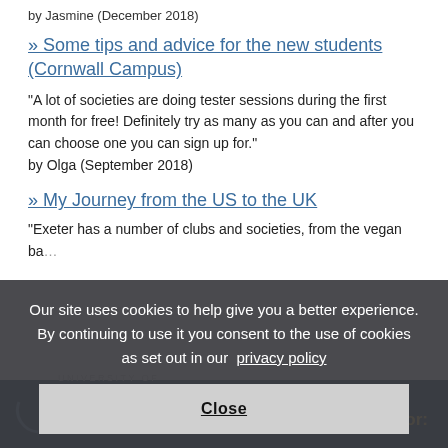by Jasmine (December 2018)
» Some tips and advice for the new students (Cornwall Campus)
"A lot of societies are doing tester sessions during the first month for free! Definitely try as many as you can and after you can choose one you can sign up for."
by Olga (September 2018)
» My Journey from the US to the UK
"Exeter has a number of clubs and societies, from the vegan ba... by ...
Our site uses cookies to help give you a better experience. By continuing to use it you consent to the use of cookies as set out in our privacy policy
Close
UNIVERSITY OF EXETER   Information for: